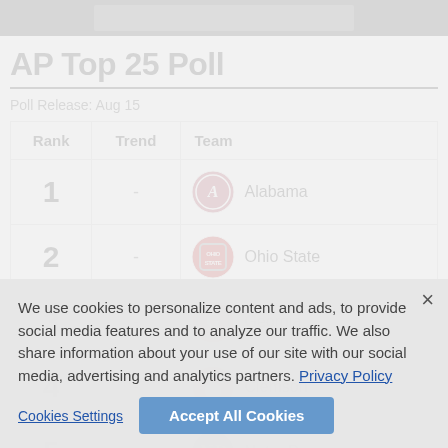[Figure (photo): Dark banner image at top of page]
AP Top 25 Poll
Poll Release: Aug 15
| Rank | Trend | Team |
| --- | --- | --- |
| 1 | - | Alabama |
| 2 | - | Ohio State |
| 3 | - | Georgia |
| 4 | - | Clemson |
| 5 | - | Notre Dame |
We use cookies to personalize content and ads, to provide social media features and to analyze our traffic. We also share information about your use of our site with our social media, advertising and analytics partners. Privacy Policy
Cookies Settings
Accept All Cookies